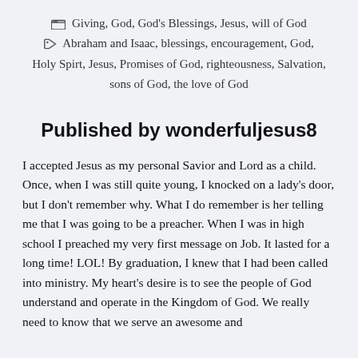Giving, God, God's Blessings, Jesus, will of God
Abraham and Isaac, blessings, encouragement, God, Holy Spirt, Jesus, Promises of God, righteousness, Salvation, sons of God, the love of God
Published by wonderfuljesus8
I accepted Jesus as my personal Savior and Lord as a child. Once, when I was still quite young, I knocked on a lady's door, but I don't remember why. What I do remember is her telling me that I was going to be a preacher. When I was in high school I preached my very first message on Job. It lasted for a long time! LOL! By graduation, I knew that I had been called into ministry. My heart's desire is to see the people of God understand and operate in the Kingdom of God. We really need to know that we serve an awesome and